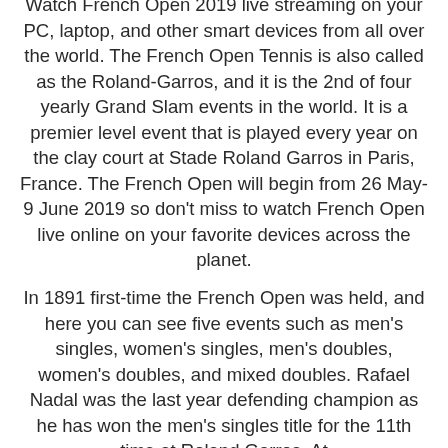Watch French Open 2019 live streaming on your PC, laptop, and other smart devices from all over the world. The French Open Tennis is also called as the Roland-Garros, and it is the 2nd of four yearly Grand Slam events in the world. It is a premier level event that is played every year on the clay court at Stade Roland Garros in Paris, France. The French Open will begin from 26 May- 9 June 2019 so don't miss to watch French Open live online on your favorite devices across the planet.
In 1891 first-time the French Open was held, and here you can see five events such as men's singles, women's singles, men's doubles, women's doubles, and mixed doubles. Rafael Nadal was the last year defending champion as he has won the men's singles title for the 11th time at Roland Garros. At